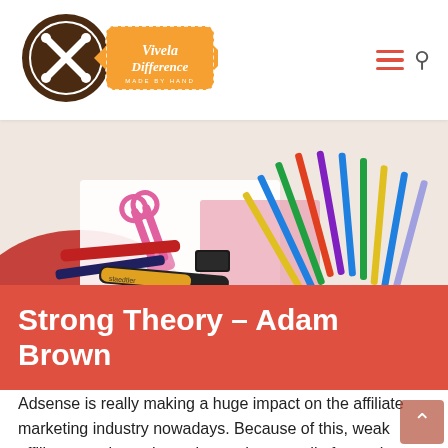[Figure (logo): Vivela Difference 'Made by Hand' logo with circular badge and orange banner]
[Figure (photo): Overhead photo of colorful art supplies: scissors, pencils, markers, crayons on a white and red surface]
Strong Theory – Adam Brown
Adsense is really making a huge impact on the affiliate marketing industry nowadays. Because of this, weak affiliate merchants have the tendency to die faster than ever and ad networks will be going to lose their customers quickly.